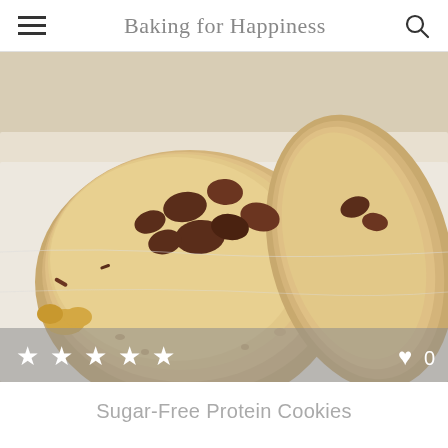Baking for Happiness
[Figure (photo): Close-up photo of sugar-free protein cookies with raisins on parchment paper, with peanuts scattered around. Overlay bar shows 5 star rating icons and a heart icon with count 0.]
Sugar-Free Protein Cookies